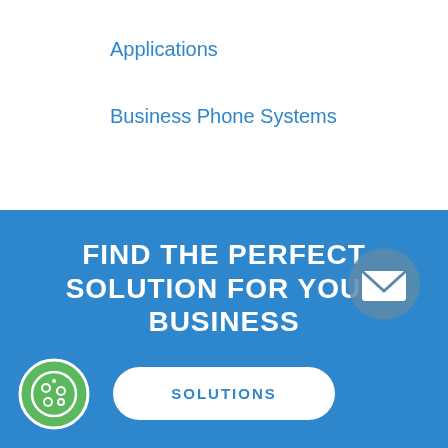Applications
Business Phone Systems
FIND THE PERFECT SOLUTION FOR YOUR BUSINESS
[Figure (illustration): White envelope/email icon inside a blue-gray circular button, positioned top-right of the blue section]
SOLUTIONS
[Figure (illustration): Green circular cookie/biscuit icon in the bottom-left corner of the blue section]